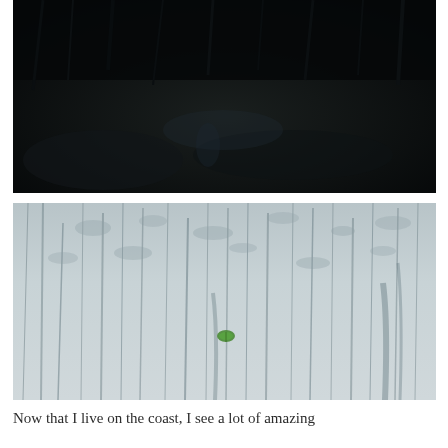[Figure (photo): Dark outdoor photograph showing silhouetted vegetation and rocks against a very dark background, shot at dusk or night.]
[Figure (photo): Aerial or close-up photograph of wet sand or tidal flat with flowing water patterns creating dark streaks across a light gray-blue surface. A single small green leaf or object is visible near the center of the image.]
Now that I live on the coast, I see a lot of amazing